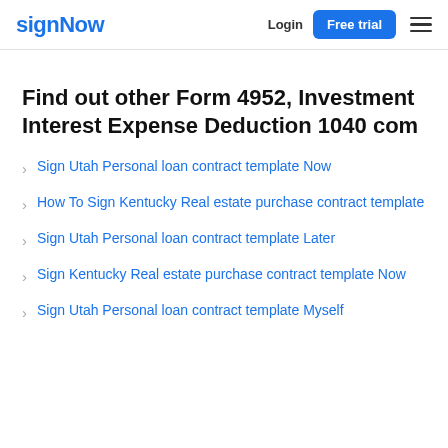signNow  Login  Free trial
Find out other Form 4952, Investment Interest Expense Deduction 1040 com
Sign Utah Personal loan contract template Now
How To Sign Kentucky Real estate purchase contract template
Sign Utah Personal loan contract template Later
Sign Kentucky Real estate purchase contract template Now
Sign Utah Personal loan contract template Myself